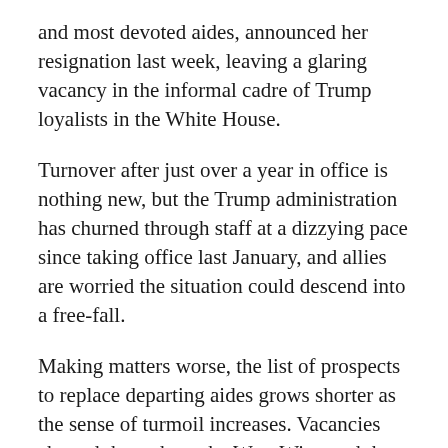and most devoted aides, announced her resignation last week, leaving a glaring vacancy in the informal cadre of Trump loyalists in the White House.
Turnover after just over a year in office is nothing new, but the Trump administration has churned through staff at a dizzying pace since taking office last January, and allies are worried the situation could descend into a free-fall.
Making matters worse, the list of prospects to replace departing aides grows shorter as the sense of turmoil increases. Vacancies abound throughout the West Wing and the administration at large, from critical roles like staff secretary to more junior positions in the press office.